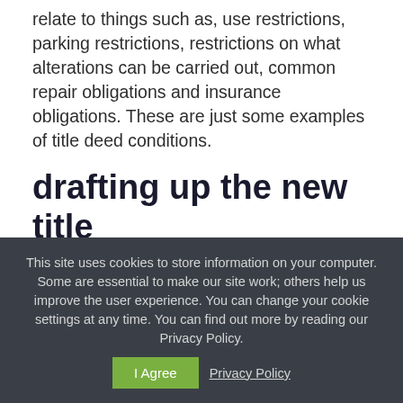relate to things such as, use restrictions, parking restrictions, restrictions on what alterations can be carried out, common repair obligations and insurance obligations. These are just some examples of title deed conditions.
drafting up the new title
In order to transfer ownership of the property title into your name we require to draft up a legal document called a Disposition. This is signed off by the seller.
This site uses cookies to store information on your computer. Some are essential to make our site work; others help us improve the user experience. You can change your cookie settings at any time. You can find out more by reading our Privacy Policy.  I Agree  Privacy Policy